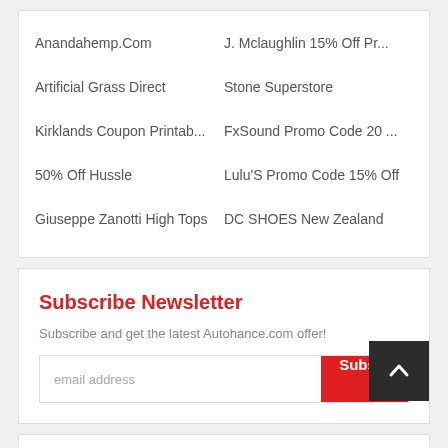Anandahemp.Com
J. Mclaughlin 15% Off Pr...
Artificial Grass Direct
Stone Superstore
Kirklands Coupon Printab...
FxSound Promo Code 20 ...
50% Off Hussle
Lulu'S Promo Code 15% Off
Giuseppe Zanotti High Tops
DC SHOES New Zealand
Subscribe Newsletter
Subscribe and get the latest Autohance.com offer!
email address